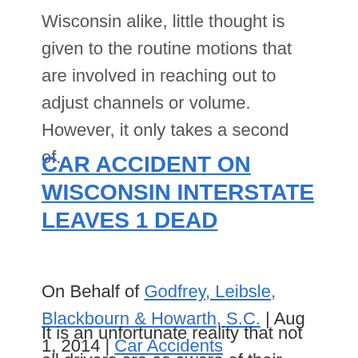Wisconsin alike, little thought is given to the routine motions that are involved in reaching out to adjust channels or volume. However, it only takes a second of...
CAR ACCIDENT ON WISCONSIN INTERSTATE LEAVES 1 DEAD
On Behalf of Godfrey, Leibsle, Blackbourn & Howarth, S.C. | Aug 1, 2014 | Car Accidents
It is an unfortunate reality that not all drivers are as aware of their surroundings as they should be